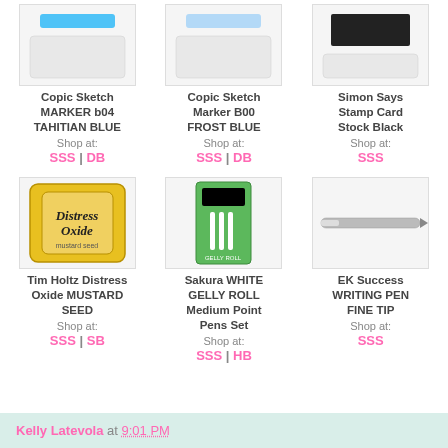[Figure (photo): Copic Sketch Marker b04 Tahitian Blue product image showing blue marker/swatch]
Copic Sketch MARKER b04 TAHITIAN BLUE
Shop at:
SSS | DB
[Figure (photo): Copic Sketch Marker B00 Frost Blue product image showing light blue marker/swatch]
Copic Sketch Marker B00 FROST BLUE
Shop at:
SSS | DB
[Figure (photo): Simon Says Stamp Card Stock Black product image showing black rectangle]
Simon Says Stamp Card Stock Black
Shop at:
SSS
[Figure (photo): Tim Holtz Distress Oxide Mustard Seed ink pad product image]
Tim Holtz Distress Oxide MUSTARD SEED
Shop at:
SSS | SB
[Figure (photo): Sakura WHITE GELLY ROLL Medium Point Pens Set product image showing green package with white pens]
Sakura WHITE GELLY ROLL Medium Point Pens Set
Shop at:
SSS | HB
[Figure (photo): EK Success Writing Pen Fine Tip product image showing a fine tip pen]
EK Success WRITING PEN FINE TIP
Shop at:
SSS
Kelly Latevola at 9:01 PM